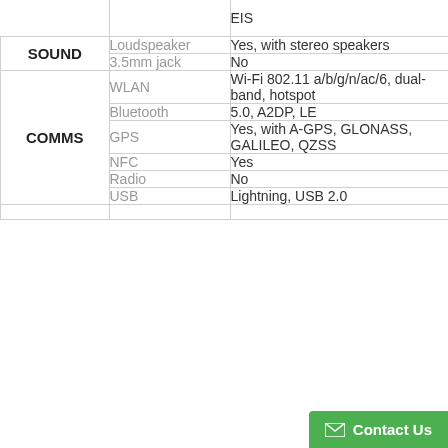| Category | Feature | Value |
| --- | --- | --- |
|  |  | EIS |
| SOUND | Loudspeaker | Yes, with stereo speakers |
| SOUND | 3.5mm jack | No |
| COMMS | WLAN | Wi-Fi 802.11 a/b/g/n/ac/6, dual-band, hotspot |
| COMMS | Bluetooth | 5.0, A2DP, LE |
| COMMS | GPS | Yes, with A-GPS, GLONASS, GALILEO, QZSS |
| COMMS | NFC | Yes |
| COMMS | Radio | No |
| COMMS | USB | Lightning, USB 2.0 |